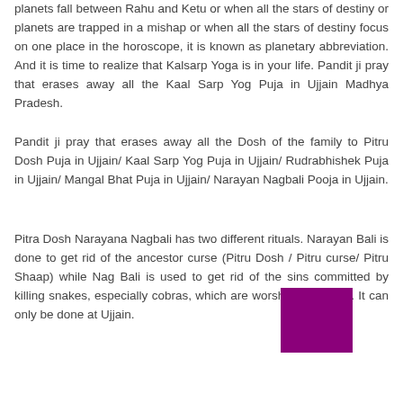planets fall between Rahu and Ketu or when all the stars of destiny or planets are trapped in a mishap or when all the stars of destiny focus on one place in the horoscope, it is known as planetary abbreviation. And it is time to realize that Kalsarp Yoga is in your life. Pandit ji pray that erases away all the Kaal Sarp Yog Puja in Ujjain Madhya Pradesh.
Pandit ji pray that erases away all the Dosh of the family to Pitru Dosh Puja in Ujjain/ Kaal Sarp Yog Puja in Ujjain/ Rudrabhishek Puja in Ujjain/ Mangal Bhat Puja in Ujjain/ Narayan Nagbali Pooja in Ujjain.
Pitra Dosh Narayana Nagbali has two different rituals. Narayan Bali is done to get rid of the ancestor curse (Pitru Dosh / Pitru curse/ Pitru Shaap) while Nag Bali is used to get rid of the sins committed by killing snakes, especially cobras, which are worshiped in India. It can only be done at Ujjain.
[Figure (illustration): A solid purple/magenta rectangle overlapping the third text block in the lower right area.]